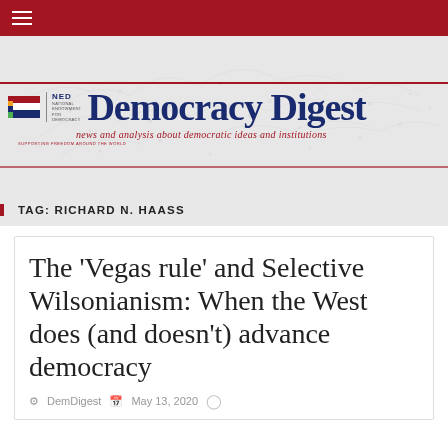Democracy Digest — NED — news and analysis about democratic ideas and institutions
TAG: RICHARD N. HAASS
The ‘Vegas rule’ and Selective Wilsonianism: When the West does (and doesn’t) advance democracy
DemDigest  May 13, 2020